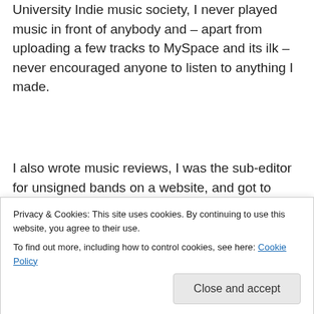University Indie music society, I never played music in front of anybody and – apart from uploading a few tracks to MySpace and its ilk – never encouraged anyone to listen to anything I made.
I also wrote music reviews, I was the sub-editor for unsigned bands on a website, and got to listen to loads of fantastic demos and DIY releases from all sorts of great bands, including one called Mysore Halena...
Privacy & Cookies: This site uses cookies. By continuing to use this website, you agree to their use.
To find out more, including how to control cookies, see here: Cookie Policy